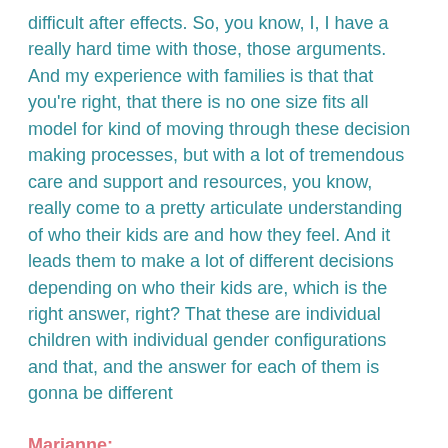difficult after effects. So, you know, I, I have a really hard time with those, those arguments. And my experience with families is that that you're right, that there is no one size fits all model for kind of moving through these decision making processes, but with a lot of tremendous care and support and resources, you know, really come to a pretty articulate understanding of who their kids are and how they feel. And it leads them to make a lot of different decisions depending on who their kids are, which is the right answer, right? That these are individual children with individual gender configurations and that, and the answer for each of them is gonna be different
Marianne:
Coincidentally. Uh, today I, I do a pleasure to work with one or two private patients outside of